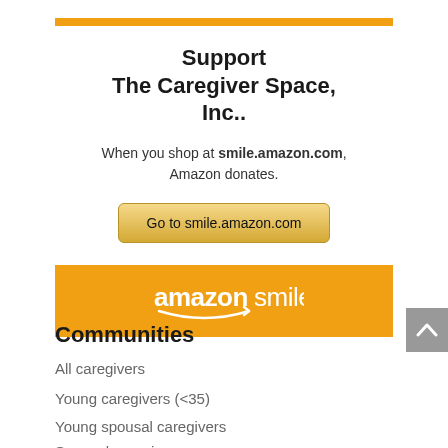[Figure (infographic): Amazon Smile widget promoting The Caregiver Space, Inc. with orange header bar, title text, description text, button to go to smile.amazon.com, and orange footer with Amazon Smile logo]
Communities
All caregivers
Young caregivers (<35)
Young spousal caregivers
Spousal caregivers